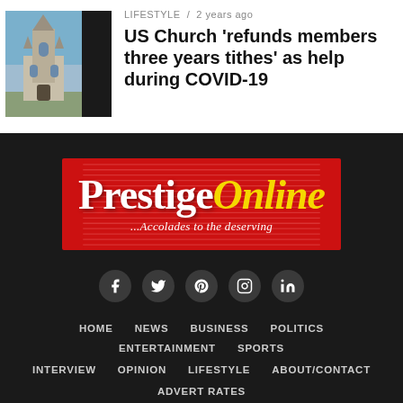LIFESTYLE / 2 years ago
US Church ‘refunds members three years tithes’ as help during COVID-19
[Figure (photo): Photo of a gothic church building (Washington National Cathedral) with blue sky, beside a black rectangle block]
[Figure (logo): Prestige Online logo - red banner with gothic-style white 'Prestige' text, italic yellow 'Online' text, and tagline '...Accolades to the deserving']
[Figure (infographic): Social media icons row: Facebook, Twitter, Pinterest, Instagram, LinkedIn - white icons on dark grey circles]
HOME
NEWS
BUSINESS
POLITICS
ENTERTAINMENT
SPORTS
INTERVIEW
OPINION
LIFESTYLE
ABOUT/CONTACT
ADVERT RATES